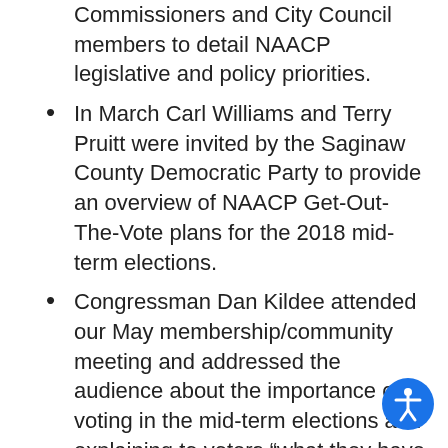members of the County Board of Commissioners and City Council members to detail NAACP legislative and policy priorities.
In March Carl Williams and Terry Pruitt were invited by the Saginaw County Democratic Party to provide an overview of NAACP Get-Out-The-Vote plans for the 2018 mid-term elections.
Congressman Dan Kildee attended our May membership/community meeting and addressed the audience about the importance of voting in the mid-term elections and explaining to voters “what they have to lose” by not voting.
Branch officials participated as part of a collaborative group to examine the potential and requirements for repealing